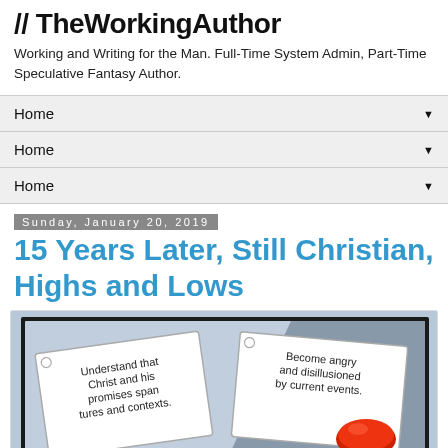// TheWorkingAuthor
Working and Writing for the Man. Full-Time System Admin, Part-Time Speculative Fantasy Author.
Home ▼
Home ▼
Home ▼
Sunday, January 20, 2019
15 Years Later, Still Christian, Highs and Lows
[Figure (illustration): Meme image showing two panels: left panel says 'Understand that Christ and his promises span [cul]tures and contexts.' and right panel says 'Become angry and disillusioned by current events.' with a red button being pressed.]